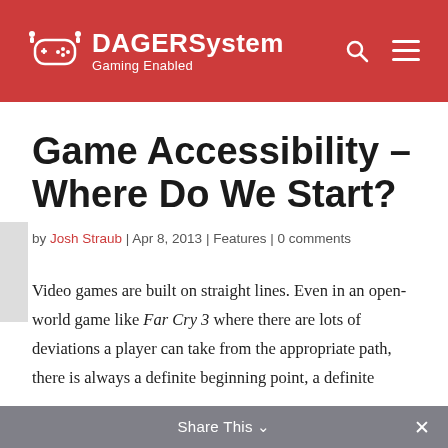DAGERSystem Gaming Enabled
Game Accessibility – Where Do We Start?
by Josh Straub | Apr 8, 2013 | Features | 0 comments
Video games are built on straight lines. Even in an open-world game like Far Cry 3 where there are lots of deviations a player can take from the appropriate path, there is always a definite beginning point, a definite
Share This